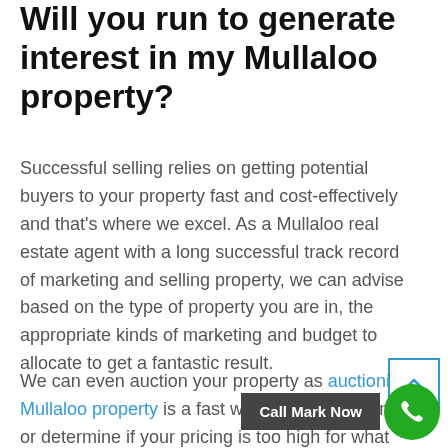Will you run to generate interest in my Mullaloo property?
Successful selling relies on getting potential buyers to your property fast and cost-effectively and that's where we excel. As a Mullaloo real estate agent with a long successful track record of marketing and selling property, we can advise based on the type of property you are in, the appropriate kinds of marketing and budget to allocate to get a fantastic result.
We can even auction your property as auctioning Mullaloo property is a fast way to sell your home, or determine if your pricing is too high for what the market will bear at the moment.